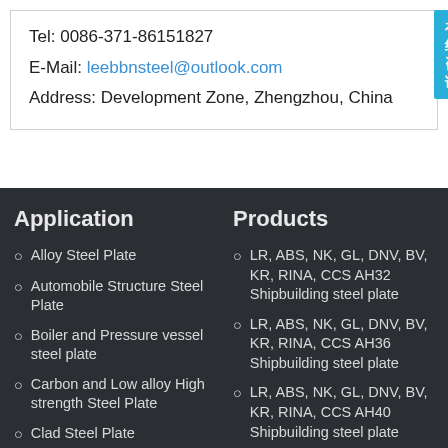Tel: 0086-371-86151827
E-Mail: leebbnsteel@outlook.com
Address: Development Zone, Zhengzhou, China
Application
Alloy Steel Plate
Automobile Structure Steel Plate
Boiler and Pressure vessel steel plate
Carbon and Low alloy High strength Steel Plate
Clad Steel Plate
Products
LR, ABS, NK, GL, DNV, BV, KR, RINA, CCS AH32 Shipbuilding steel plate
LR, ABS, NK, GL, DNV, BV, KR, RINA, CCS AH36 Shipbuilding steel plate
LR, ABS, NK, GL, DNV, BV, KR, RINA, CCS AH40 Shipbuilding steel plate